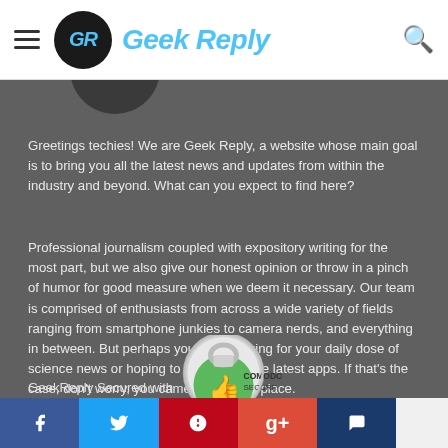Geek Reply
Greetings techies! We are Geek Reply, a website whose main goal is to bring you all the latest news and updates from within the industry and beyond. What can you expect to find here?
Professional journalism coupled with expository writing for the most part, but we also give our honest opinion or throw in a pinch of humor for good measure when we deem it necessary. Our team is comprised of enthusiasts from across a wide variety of fields ranging from smartphone junkies to camera nerds, and everything in between. But perhaps you were looking for your daily dose of science news or hoping to read about the latest apps. If that's the case, don't worry, you came to the right place.
[Figure (logo): Comodo Secure badge with green thumbs up icon and padlock]
GeekReply Secured with
Social share bar: Facebook, Twitter, Pinterest, Google+, Comments